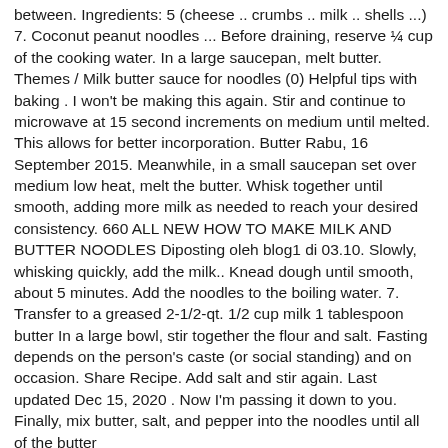between. Ingredients: 5 (cheese .. crumbs .. milk .. shells ...) 7. Coconut peanut noodles ... Before draining, reserve ¼ cup of the cooking water. In a large saucepan, melt butter. Themes / Milk butter sauce for noodles (0) Helpful tips with baking . I won't be making this again. Stir and continue to microwave at 15 second increments on medium until melted. This allows for better incorporation. Butter Rabu, 16 September 2015. Meanwhile, in a small saucepan set over medium low heat, melt the butter. Whisk together until smooth, adding more milk as needed to reach your desired consistency. 660 ALL NEW HOW TO MAKE MILK AND BUTTER NOODLES Diposting oleh blog1 di 03.10. Slowly, whisking quickly, add the milk.. Knead dough until smooth, about 5 minutes. Add the noodles to the boiling water. 7. Transfer to a greased 2-1/2-qt. 1/2 cup milk 1 tablespoon butter In a large bowl, stir together the flour and salt. Fasting depends on the person's caste (or social standing) and on occasion. Share Recipe. Add salt and stir again. Last updated Dec 15, 2020 . Now I'm passing it down to you. Finally, mix butter, salt, and pepper into the noodles until all of the butter